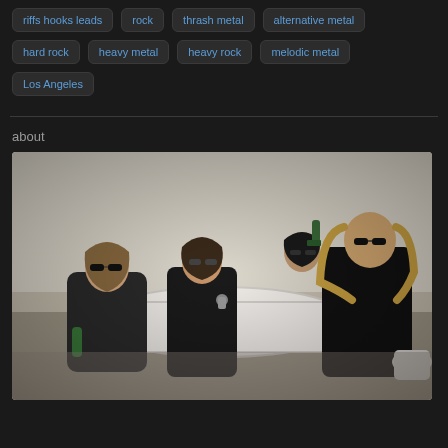riffs hooks leads
rock
thrash metal
alternative metal
hard rock
heavy metal
heavy rock
melodic metal
Los Angeles
about
[Figure (photo): Four band members posing in and around a bathtub in a bathroom setting, wearing sunglasses, with long hair, holding bottles, in a rock band promotional photo style.]